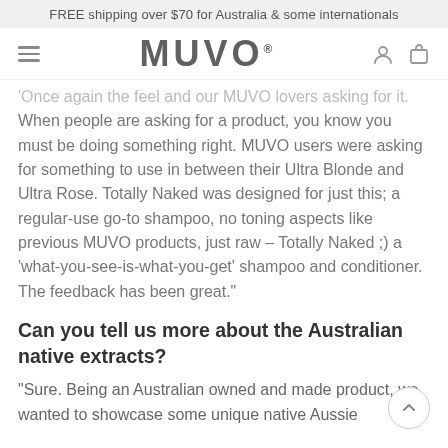FREE shipping over $70 for Australia & some internationals
[Figure (logo): MUVO logo with hamburger menu icon on the left and person/bag icons on the right]
'Once again the feel and our MUVO lovers asking for it. When people are asking for a product, you know you must be doing something right. MUVO users were asking for something to use in between their Ultra Blonde and Ultra Rose. Totally Naked was designed for just this; a regular-use go-to shampoo, no toning aspects like previous MUVO products, just raw – Totally Naked ;) a 'what-you-see-is-what-you-get' shampoo and conditioner. The feedback has been great."
Can you tell us more about the Australian native extracts?
"Sure. Being an Australian owned and made product, we wanted to showcase some unique native Aussie